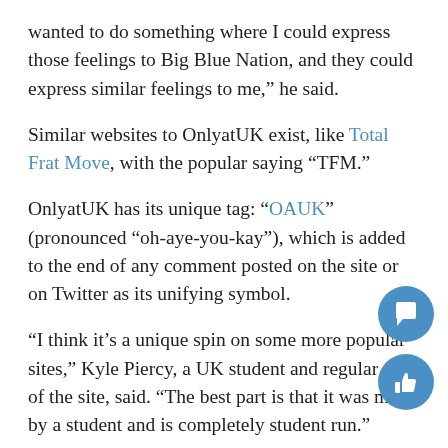wanted to do something where I could express those feelings to Big Blue Nation, and they could express similar feelings to me,” he said.
Similar websites to OnlyatUK exist, like Total Frat Move, with the popular saying “TFM.”
OnlyatUK has its unique tag: “OAUK” (pronounced “oh-aye-you-kay”), which is added to the end of any comment posted on the site or on Twitter as its unifying symbol.
“I think it’s a unique spin on some more popular sites,” Kyle Piercy, a UK student and regular user of the site, said. “The best part is that it was made by a student and is completely student run.”
Gunter said he plans to keep building the site and eventually include new sections to get even more…